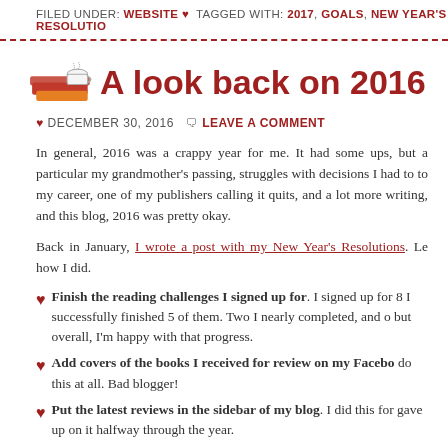FILED UNDER: WEBSITE ♥ TAGGED WITH: 2017, GOALS, NEW YEAR'S RESOLUTIO...
A look back on 2016
♥ DECEMBER 30, 2016  📌 LEAVE A COMMENT
In general, 2016 was a crappy year for me. It had some ups, but a... particular my grandmother's passing, struggles with decisions I had to... to my career, one of my publishers calling it quits, and a lot more... writing, and this blog, 2016 was pretty okay.
Back in January, I wrote a post with my New Year's Resolutions. Le... how I did.
Finish the reading challenges I signed up for. I signed up for 8... I successfully finished 5 of them. Two I nearly completed, and o... but overall, I'm happy with that progress.
Add covers of the books I received for review on my Facebo... do this at all. Bad blogger!
Put the latest reviews in the sidebar of my blog. I did this for... gave up on it halfway through the year.